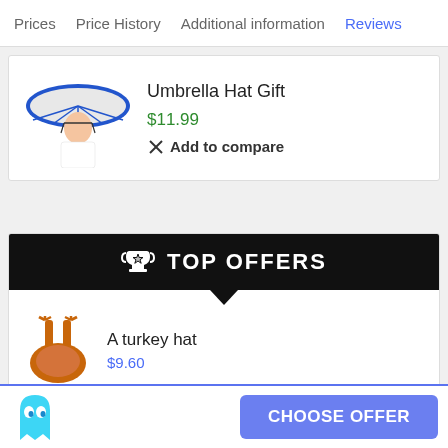Prices  Price History  Additional information  Reviews
[Figure (photo): Person wearing a blue and white umbrella hat]
Umbrella Hat Gift
$11.99
Add to compare
TOP OFFERS
[Figure (photo): Turkey hat product image showing turkey legs on top of head]
A turkey hat
$9.60
CHOOSE OFFER